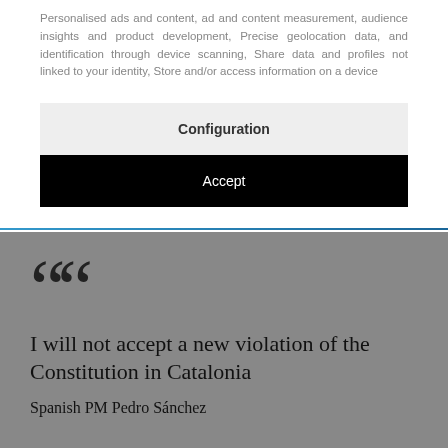Personalised ads and content, ad and content measurement, audience insights and product development, Precise geolocation data, and identification through device scanning, Share data and profiles not linked to your identity, Store and/or access information on a device
Configuration
Accept
““
I will not accept a new violation of the Constitution in Catalonia
Spanish PM Pedro Sánchez